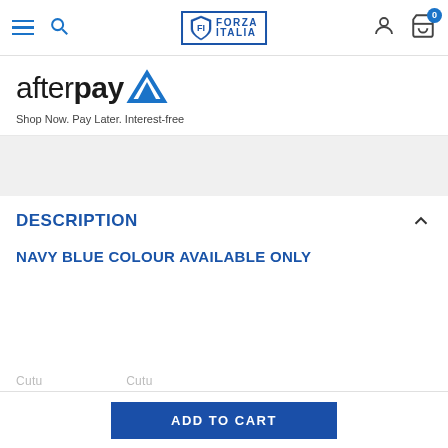Navigation bar with menu, search, Forza Italia logo, user icon, and cart (0)
[Figure (logo): Afterpay logo: 'afterpay' wordmark in black with bold 'pay' and a blue triangle/arrow icon]
Shop Now. Pay Later. Interest-free
DESCRIPTION
NAVY BLUE COLOUR AVAILABLE ONLY
...cropped text partially visible at bottom...
ADD TO CART